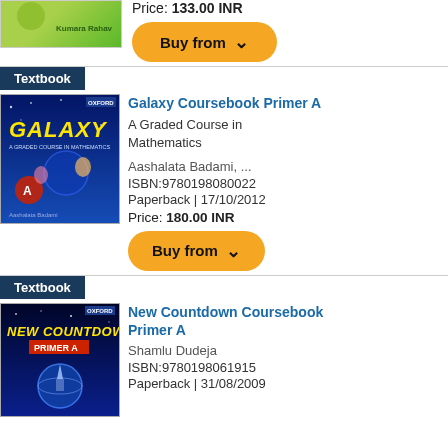Price: 133.00 INR
[Figure (other): Buy from button (orange rounded rectangle with chevron)]
Textbook
[Figure (photo): Galaxy Coursebook Primer A book cover — blue background with children and math-related graphics, 'GALAXY' text in yellow]
Galaxy Coursebook Primer A
A Graded Course in Mathematics
Aashalata Badami, ...
ISBN:9780198080022
Paperback | 17/10/2012
Price: 180.00 INR
[Figure (other): Buy from button (orange rounded rectangle with chevron)]
Textbook
[Figure (photo): New Countdown Coursebook Primer A book cover — dark blue/space background with 'NEW COUNTDOWN' text in yellow]
New Countdown Coursebook Primer A
Shamlu Dudeja
ISBN:9780198061915
Paperback | 31/08/2009